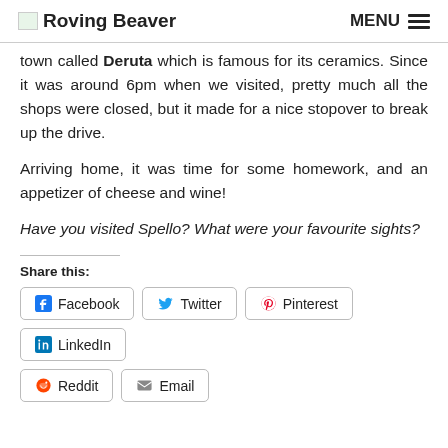Roving Beaver  MENU
town called Deruta which is famous for its ceramics. Since it was around 6pm when we visited, pretty much all the shops were closed, but it made for a nice stopover to break up the drive.
Arriving home, it was time for some homework, and an appetizer of cheese and wine!
Have you visited Spello? What were your favourite sights?
Share this:
Facebook  Twitter  Pinterest  LinkedIn  Reddit  Email